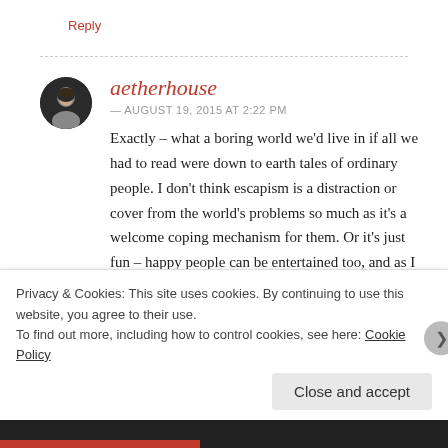Reply
aetherhouse
— AUGUST 19, 2015 AT 2:22 PM
Exactly – what a boring world we'd live in if all we had to read were down to earth tales of ordinary people. I don't think escapism is a distraction or cover from the world's problems so much as it's a welcome coping mechanism for them. Or it's just fun – happy people can be entertained too, and as I said, it can be a great way to make friends. And really, humans have always
Privacy & Cookies: This site uses cookies. By continuing to use this website, you agree to their use.
To find out more, including how to control cookies, see here: Cookie Policy
Close and accept